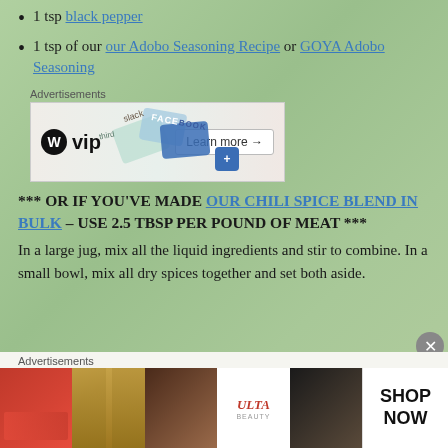1 tsp black pepper
1 tsp of our our Adobo Seasoning Recipe or GOYA Adobo Seasoning
[Figure (screenshot): WordPress VIP advertisement banner with colorful cards overlay and Learn more button]
*** OR IF YOU'VE MADE OUR CHILI SPICE BLEND IN BULK – USE 2.5 TBSP PER POUND OF MEAT ***
In a large jug, mix all the liquid ingredients and stir to combine. In a small bowl, mix all dry spices together and set both aside.
[Figure (screenshot): Ulta Beauty advertisement banner showing makeup imagery with SHOP NOW button]